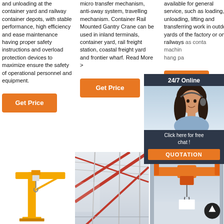and unloading at the container yard and railway container depots, with stable performance, high efficiency and ease maintenance having proper safety instructions and overload protection devices to maximize ensure the safety of operational personnel and equipment.
micro transfer mechanism, anti-sway system, travelling mechanism. Container Rail Mounted Gantry Crane can be used in inland terminals, container yard, rail freight station, coastal freight yard and frontier wharf. Read More >
available for general service, such as loading, unloading, lifting and transferring work in outdoor yards of the factory or on railways as container matching hang parts
[Figure (screenshot): 24/7 Online customer service overlay with woman wearing headset, Click here for free chat, QUOTATION button]
Get Price
Get Price
Get Price
[Figure (photo): Yellow jib crane illustration on white background]
[Figure (photo): Interior warehouse photo showing red steel beams and ceiling structure]
[Figure (photo): Overhead crane photo in industrial building with orange crane, up arrow circle button overlay]